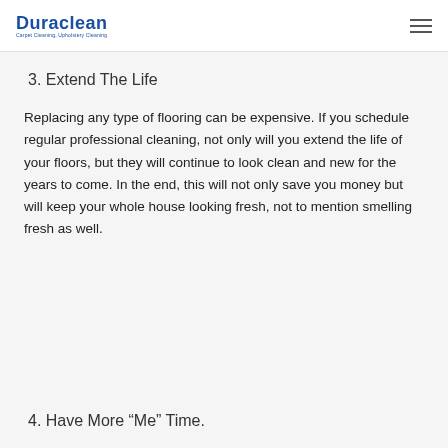Duraclean — Carpet Cleaning, Upholstery Cleaning
3. Extend The Life
Replacing any type of flooring can be expensive. If you schedule regular professional cleaning, not only will you extend the life of your floors, but they will continue to look clean and new for the years to come. In the end, this will not only save you money but will keep your whole house looking fresh, not to mention smelling fresh as well.
4. Have More “Me” Time.